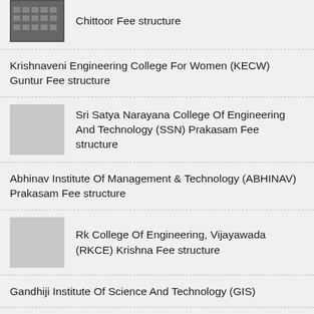Chittoor Fee structure
Krishnaveni Engineering College For Women (KECW) Guntur Fee structure
Sri Satya Narayana College Of Engineering And Technology (SSN) Prakasam Fee structure
Abhinav Institute Of Management & Technology (ABHINAV) Prakasam Fee structure
Rk College Of Engineering, Vijayawada (RKCE) Krishna Fee structure
Gandhiji Institute Of Science And Technology (GIS)